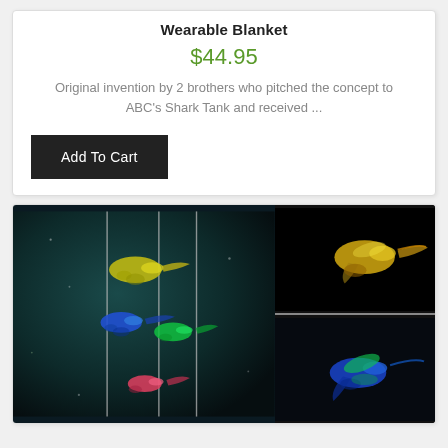Wearable Blanket
$44.95
Original invention by 2 brothers who pitched the concept to ABC's Shark Tank and received ...
Add To Cart
[Figure (photo): Collage of glowing hummingbird wind chime figurines in multiple colors (yellow, blue, green, pink) against dark teal and black backgrounds. Left panel shows three hummingbirds on vertical rods; right panels show close-up views of individual colored hummingbirds on black backgrounds.]